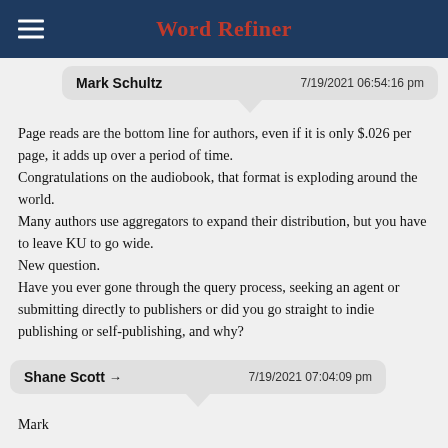Word Refiner
Mark Schultz  7/19/2021 06:54:16 pm
Page reads are the bottom line for authors, even if it is only $.026 per page, it adds up over a period of time.
Congratulations on the audiobook, that format is exploding around the world.
Many authors use aggregators to expand their distribution, but you have to leave KU to go wide.
New question.
Have you ever gone through the query process, seeking an agent or submitting directly to publishers or did you go straight to indie publishing or self-publishing, and why?
Shane Scott → 7/19/2021 07:04:09 pm
Mark